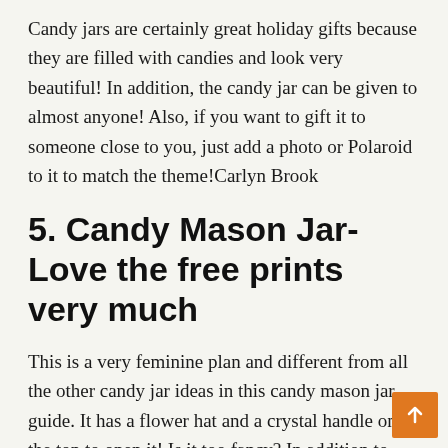Candy jars are certainly great holiday gifts because they are filled with candies and look very beautiful! In addition, the candy jar can be given to almost anyone! Also, if you want to gift it to someone close to you, just add a photo or Polaroid to it to match the theme!Carlyn Brook
5. Candy Mason Jar-Love the free prints very much
This is a very feminine plan and different from all the other candy jar ideas in this candy mason jar guide. It has a flower hat and a crystal handle on the top to open it! Is it too fancy? In addition to this, a cardboard cutout was placed around the lid of the jar with a black and white thread!Cottage market